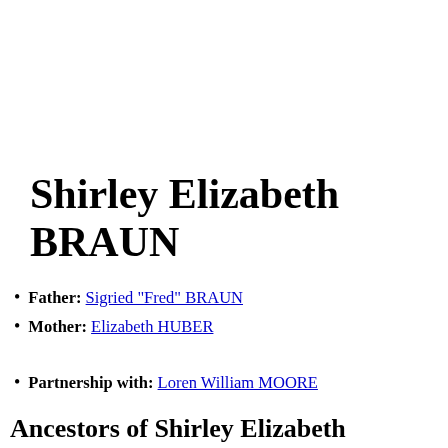Shirley Elizabeth BRAUN
Father: Sigried "Fred" BRAUN
Mother: Elizabeth HUBER
Partnership with: Loren William MOORE
Ancestors of Shirley Elizabeth BRAUN